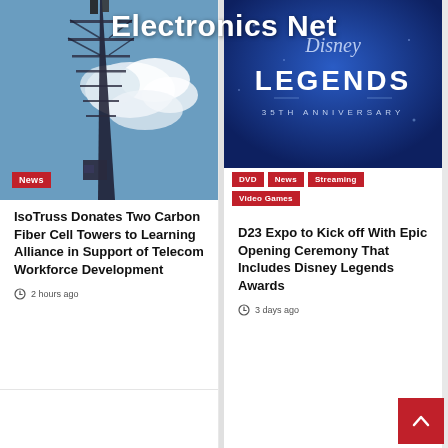Electronics Net
[Figure (photo): Cell tower against blue sky with clouds]
News
IsoTruss Donates Two Carbon Fiber Cell Towers to Learning Alliance in Support of Telecom Workforce Development
2 hours ago
[Figure (photo): Disney Legends 35th Anniversary blue promotional image with Disney Legends logo]
DVD
News
Streaming
Video Games
D23 Expo to Kick off With Epic Opening Ceremony That Includes Disney Legends Awards
3 days ago